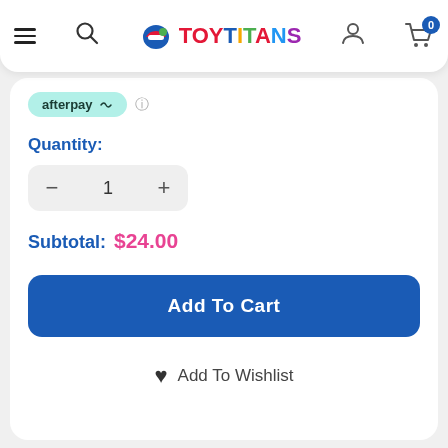ToyTitans — navigation bar with hamburger menu, search, logo, user icon, and cart (0)
[Figure (logo): ToyTitans logo with helmet mascot and colorful lettering]
afterpay ℹ
Quantity:
− 1 +
Subtotal: $24.00
Add To Cart
♥ Add To Wishlist